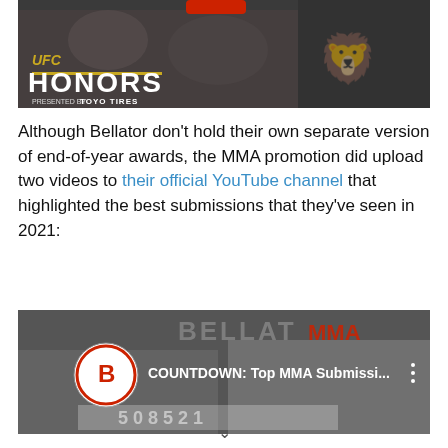[Figure (screenshot): UFC Honors presented by Toyo Tires promotional image showing fighters in action with UFC Honors logo and Toyo Tires branding]
Although Bellator don't hold their own separate version of end-of-year awards, the MMA promotion did upload two videos to their official YouTube channel that highlighted the best submissions that they've seen in 2021:
[Figure (screenshot): Bellator MMA YouTube video thumbnail showing 'COUNTDOWN: Top MMA Submissi...' with Bellator logo and fighters in black and white]
v